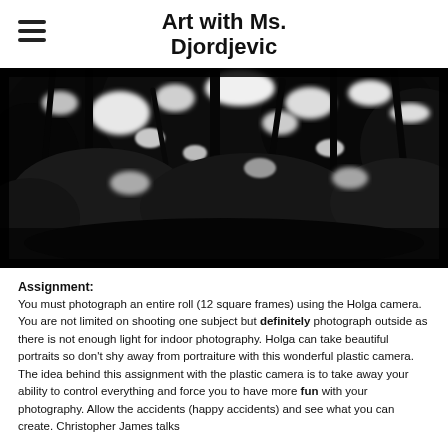Art with Ms. Djordjevic
[Figure (photo): Black and white Holga camera photograph showing trees and foliage with high contrast, blurry and textured effect typical of Holga plastic lens photography]
Assignment:
You must photograph an entire roll (12 square frames) using the Holga camera. You are not limited on shooting one subject but definitely photograph outside as there is not enough light for indoor photography. Holga can take beautiful portraits so don't shy away from portraiture with this wonderful plastic camera. The idea behind this assignment with the plastic camera is to take away your ability to control everything and force you to have more fun with your photography. Allow the accidents (happy accidents) and see what you can create. Christopher James talks